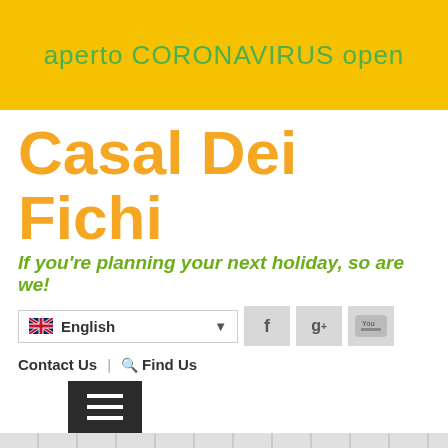aperto CORONAVIRUS open
Casal Dei Fichi
If you're planning your next holiday, so are we!
[Figure (screenshot): Language selector dropdown showing UK flag and 'English', followed by Facebook, Google+, and YouTube social media buttons]
Contact Us | Find Us
[Figure (screenshot): Hamburger menu button (three white horizontal lines on dark background)]
Not everything in Italy is rose tinted.